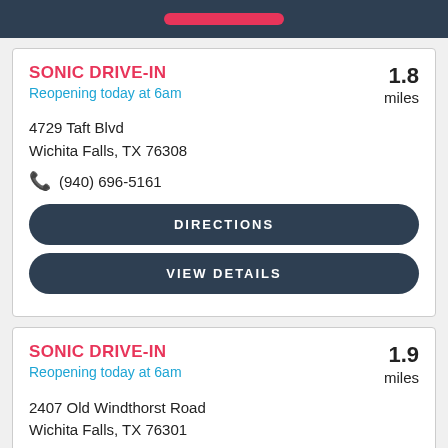SONIC DRIVE-IN
Reopening today at 6am
4729 Taft Blvd
Wichita Falls, TX 76308
(940) 696-5161
DIRECTIONS
VIEW DETAILS
1.8 miles
SONIC DRIVE-IN
Reopening today at 6am
2407 Old Windthorst Road
Wichita Falls, TX 76301
1.9 miles